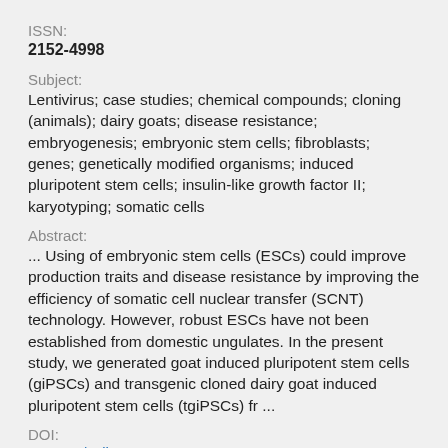ISSN:
2152-4998
Subject:
Lentivirus; case studies; chemical compounds; cloning (animals); dairy goats; disease resistance; embryogenesis; embryonic stem cells; fibroblasts; genes; genetically modified organisms; induced pluripotent stem cells; insulin-like growth factor II; karyotyping; somatic cells
Abstract:
... Using of embryonic stem cells (ESCs) could improve production traits and disease resistance by improving the efficiency of somatic cell nuclear transfer (SCNT) technology. However, robust ESCs have not been established from domestic ungulates. In the present study, we generated goat induced pluripotent stem cells (giPSCs) and transgenic cloned dairy goat induced pluripotent stem cells (tgiPSCs) fr ...
DOI:
10.1089/cell.2015.0035